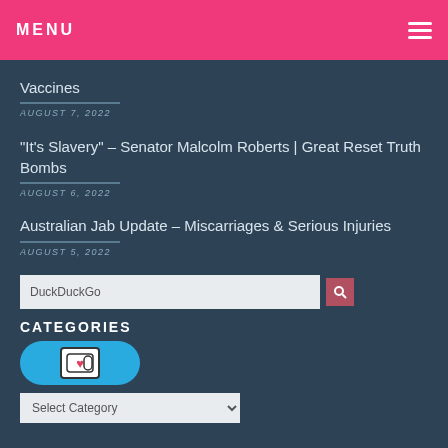MENU
Vaccines
AUGUST 7, 2022
“It’s Slavery” – Senator Malcolm Roberts | Great Reset Truth Bombs
AUGUST 6, 2022
Australian Jab Update – Miscarriages & Serious Injuries
AUGUST 5, 2022
DuckDuckGo
CATEGORIES
Select Category